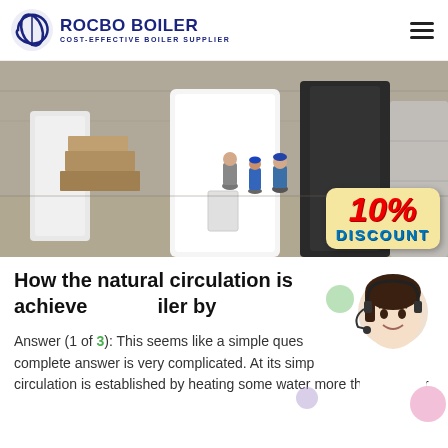ROCBO BOILER — COST-EFFECTIVE BOILER SUPPLIER
[Figure (photo): Industrial warehouse scene showing large vertical boilers (white and black/wrapped), workers in blue clothing and hard hats, with a 10% DISCOUNT badge overlay in the bottom right]
How the natural circulation is achieved in a boiler by
Answer (1 of 3): This seems like a simple question but the complete answer is very complicated. At its simplest, circulation is established by heating some water more than another